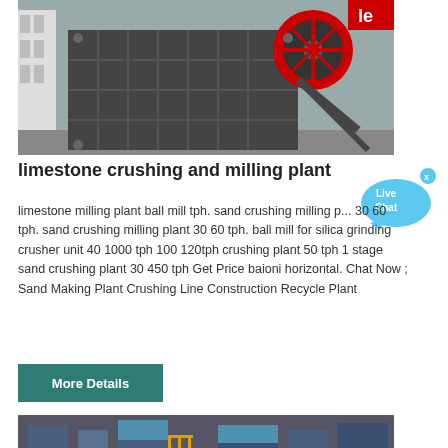[Figure (photo): Industrial limestone jaw crusher machine, grey/black metal body with red flywheel, photographed outdoors]
limestone crushing and milling plant
limestone milling plant ball mill tph. sand crushing milling plant 30 60 tph. sand crushing milling plant 30 60 tph. ball mill for silica grinding crusher unit 40 1000 tph 100 120tph crushing plant 50 tph 1 stage sand crushing plant 30 450 tph Get Price baioni horizontal. Chat Now ; Sand Making Plant Crushing Line Construction Recycle Plant
[Figure (other): Blue speech bubble Live Chat widget with X close button]
More Details
[Figure (photo): Industrial plant interior showing machinery, conveyor systems, yellow railings]